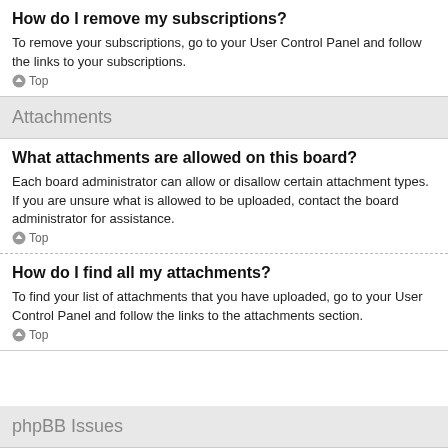How do I remove my subscriptions?
To remove your subscriptions, go to your User Control Panel and follow the links to your subscriptions.
Top
Attachments
What attachments are allowed on this board?
Each board administrator can allow or disallow certain attachment types. If you are unsure what is allowed to be uploaded, contact the board administrator for assistance.
Top
How do I find all my attachments?
To find your list of attachments that you have uploaded, go to your User Control Panel and follow the links to the attachments section.
Top
phpBB Issues